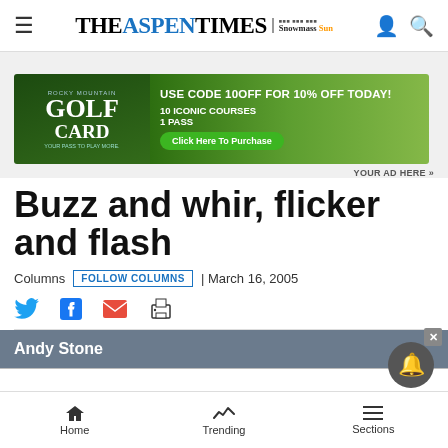THE ASPEN TIMES | Snowmass Sun
[Figure (photo): Golf Card advertisement banner: 'USE CODE 10OFF FOR 10% OFF TODAY! 10 ICONIC COURSES 1 PASS — Click Here To Purchase']
YOUR AD HERE »
Buzz and whir, flicker and flash
Columns  FOLLOW COLUMNS  | March 16, 2005
Andy Stone
Home  Trending  Sections